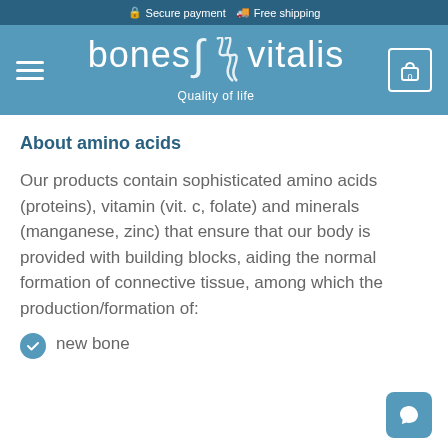🔒 Secure payment 🚚 Free shipping
[Figure (logo): Bones Vitalis logo with tagline 'Quality of life' on blue background with hamburger menu and cart icon]
About amino acids
Our products contain sophisticated amino acids (proteins), vitamin (vit. c, folate) and minerals (manganese, zinc) that ensure that our body is provided with building blocks, aiding the normal formation of connective tissue, among which the production/formation of:
new bone